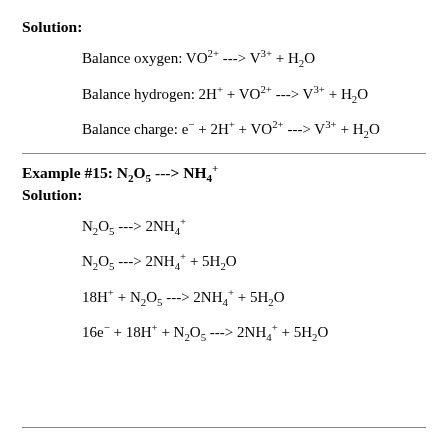Solution:
Example #15: N2O5 ---> NH4+
Solution: